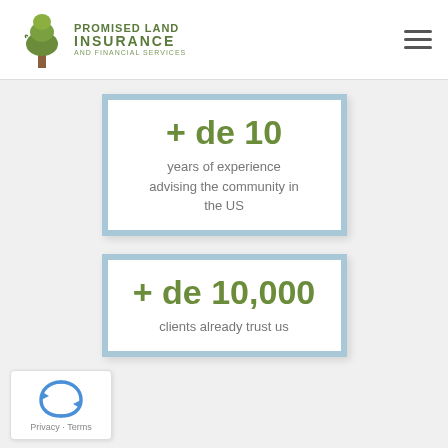[Figure (logo): Promised Land Insurance and Financial Services logo with tree icon]
+ de 10
years of experience advising the community in the US
+ de 10,000
clients already trust us
[Figure (other): reCAPTCHA Privacy - Terms badge]